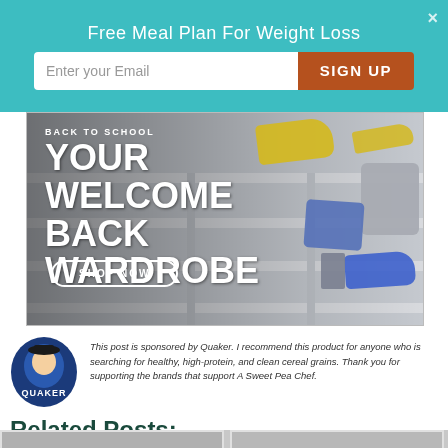Free Meal Plan For Weight Loss
[Figure (screenshot): Email signup form with teal banner, email input, and SIGN UP button]
[Figure (advertisement): Back to School Your Welcome Back Wardrobe ad with SHOP NOW button, showing bleacher bench with yellow sneakers, blue shorts, gray sweatshirt, and blue sneakers]
This post is sponsored by Quaker. I recommend this product for anyone who is searching for healthy, high-protein, and clean cereal grains. Thank you for supporting the brands that support A Sweet Pea Chef.
Related Posts:
[Figure (photo): Partial thumbnail images at the bottom of page for related posts]